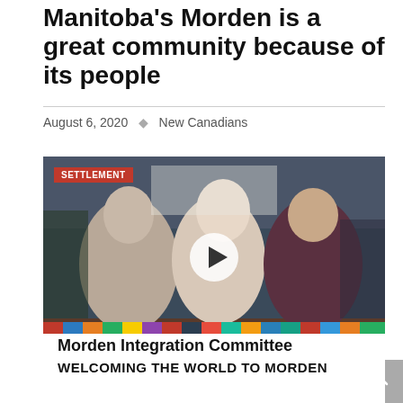Manitoba's Morden is a great community because of its people
August 6, 2020    New Canadians
[Figure (photo): Video thumbnail showing three women seated at a table covered with a banner reading 'Morden Integration Committee WELCOMING THE WORLD TO MORDEN' with international flags. A 'SETTLEMENT' tag appears in the top-left corner and a play button overlay in the center.]
Morden was quicker than many small cities in Canada to focus on attracting new immigrants as a way to address